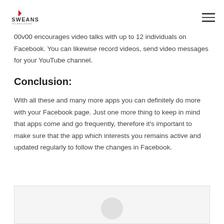Sweans Technologies
00v00 encourages video talks with up to 12 individuals on Facebook. You can likewise record videos, send video messages for your YouTube channel.
Conclusion:
With all these and many more apps you can definitely do more with your Facebook page. Just one more thing to keep in mind that apps come and go frequently, therefore it’s important to make sure that the app which interests you remains active and updated regularly to follow the changes in Facebook.
[Figure (illustration): Partially visible image at the bottom of the page showing what appears to be a logo or graphic element]